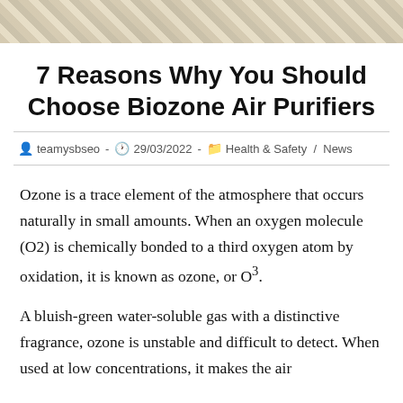[Figure (photo): Partial top image, appears to show a light-colored wooden or textured surface, cropped strip at the top of the page.]
7 Reasons Why You Should Choose Biozone Air Purifiers
teamysbseo  -  29/03/2022  -  Health & Safety / News
Ozone is a trace element of the atmosphere that occurs naturally in small amounts. When an oxygen molecule (O2) is chemically bonded to a third oxygen atom by oxidation, it is known as ozone, or O³.
A bluish-green water-soluble gas with a distinctive fragrance, ozone is unstable and difficult to detect. When used at low concentrations, it makes the air